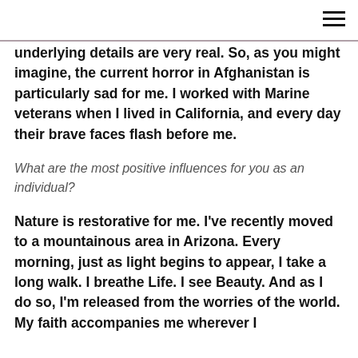underlying details are very real. So, as you might imagine, the current horror in Afghanistan is particularly sad for me. I worked with Marine veterans when I lived in California, and every day their brave faces flash before me.
What are the most positive influences for you as an individual?
Nature is restorative for me. I've recently moved to a mountainous area in Arizona. Every morning, just as light begins to appear, I take a long walk. I breathe Life. I see Beauty. And as I do so, I'm released from the worries of the world. My faith accompanies me wherever I